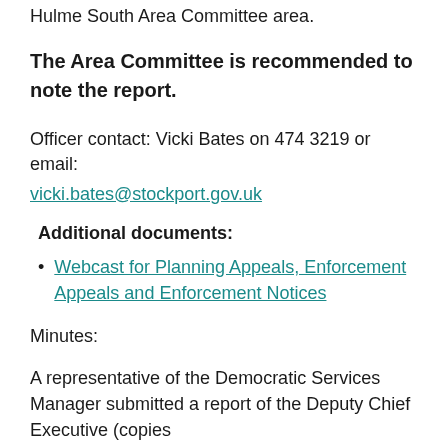Hulme South Area Committee area.
The Area Committee is recommended to note the report.
Officer contact: Vicki Bates on 474 3219 or email: vicki.bates@stockport.gov.uk
Additional documents:
Webcast for Planning Appeals, Enforcement Appeals and Enforcement Notices
Minutes:
A representative of the Democratic Services Manager submitted a report of the Deputy Chief Executive (copies